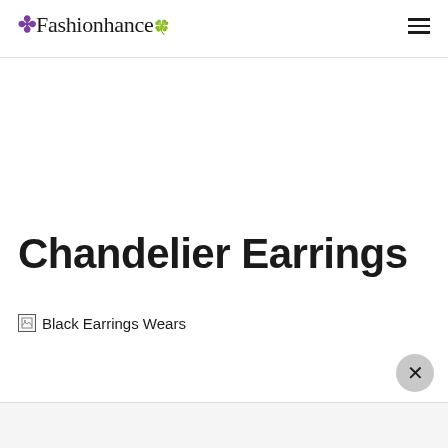Fashionhance
Chandelier Earrings
[Figure (photo): Broken image placeholder with alt text 'Black Earrings Wears']